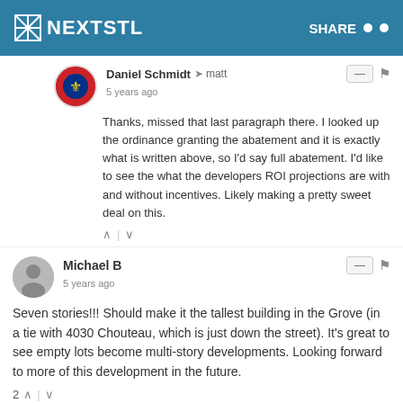NEXTSTL | SHARE
Daniel Schmidt → matt
5 years ago
Thanks, missed that last paragraph there. I looked up the ordinance granting the abatement and it is exactly what is written above, so I'd say full abatement. I'd like to see the what the developers ROI projections are with and without incentives. Likely making a pretty sweet deal on this.
Michael B
5 years ago
Seven stories!!! Should make it the tallest building in the Grove (in a tie with 4030 Chouteau, which is just down the street). It's great to see empty lots become multi-story developments. Looking forward to more of this development in the future.
Jakeb
5 years ago
Wonderful news!